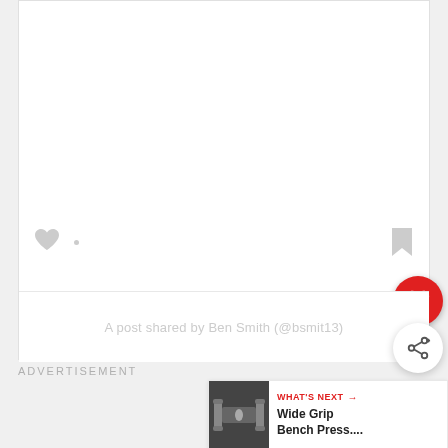[Figure (screenshot): A social media post card with a white content area, gray heart icon (top-left), gray bookmark icon (top-right), a red circular heart FAB button, and a footer showing 'A post shared by Ben Smith (@bsmit13)' with a share FAB button.]
A post shared by Ben Smith (@bsmit13)
ADVERTISEMENT
WHAT'S NEXT → Wide Grip Bench Press....